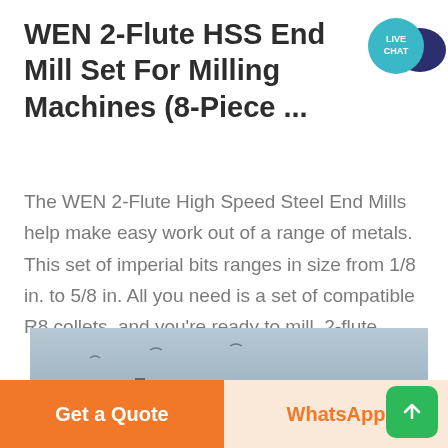WEN 2-Flute HSS End Mill Set For Milling Machines (8-Piece ...
The WEN 2-Flute High Speed Steel End Mills help make easy work out of a range of metals. This set of imperial bits ranges in size from 1/8 in. to 5/8 in. All you need is a set of compatible R8 collets, and you're ready to mill. 2-flute
[Figure (photo): Outdoor industrial scene showing conveyor belts or machinery at a worksite with a hazy sky in the background]